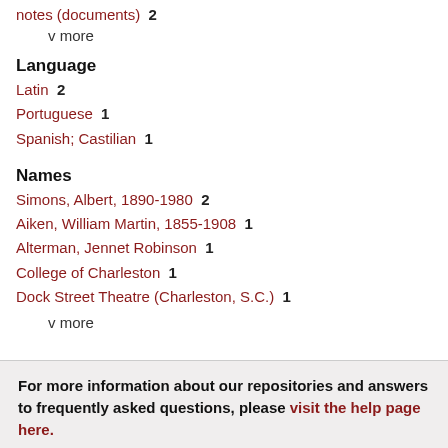notes (documents)  2
v more
Language
Latin  2
Portuguese  1
Spanish; Castilian  1
Names
Simons, Albert, 1890-1980  2
Aiken, William Martin, 1855-1908  1
Alterman, Jennet Robinson  1
College of Charleston  1
Dock Street Theatre (Charleston, S.C.)  1
v more
For more information about our repositories and answers to frequently asked questions, please visit the help page here.